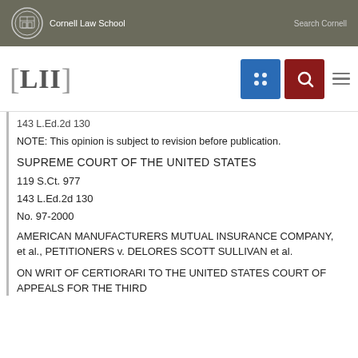Cornell Law School | Search Cornell
[LII]
143 L.Ed.2d 130
NOTE: This opinion is subject to revision before publication.
SUPREME COURT OF THE UNITED STATES
119 S.Ct. 977
143 L.Ed.2d 130
No. 97-2000
AMERICAN MANUFACTURERS MUTUAL INSURANCE COMPANY, et al., PETITIONERS v. DELORES SCOTT SULLIVAN et al.
ON WRIT OF CERTIORARI TO THE UNITED STATES COURT OF APPEALS FOR THE THIRD